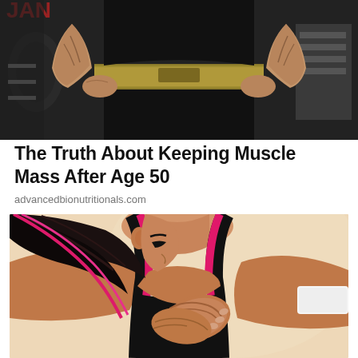[Figure (photo): Muscular person in gym wearing gold weight belt, veiny arms visible, weightlifting equipment in background]
The Truth About Keeping Muscle Mass After Age 50
advancedbionutritionals.com
[Figure (photo): Young woman in pink sports bra holding her chest/heart area, looking down with concerned expression, beige background]